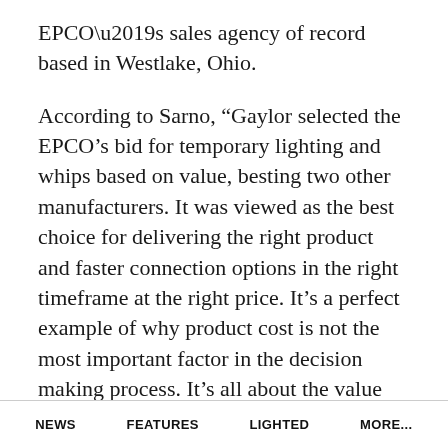EPCO’s sales agency of record based in Westlake, Ohio.
According to Sarno, “Gaylor selected the EPCO’s bid for temporary lighting and whips based on value, besting two other manufacturers. It was viewed as the best choice for delivering the right product and faster connection options in the right timeframe at the right price. It’s a perfect example of why product cost is not the most important factor in the decision making process. It’s all about the value their products provide, such as quicker, simpler installation f...
NEWS   FEATURES   LIGHTED   MORE...